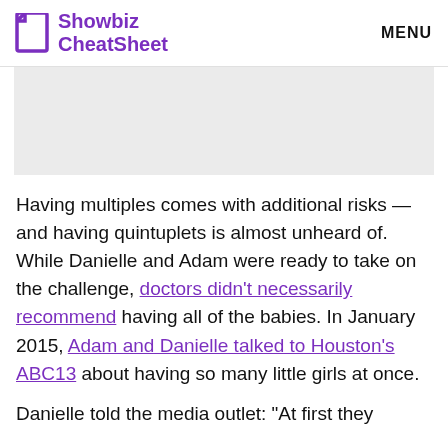Showbiz CheatSheet  MENU
[Figure (other): Gray advertisement placeholder rectangle]
Having multiples comes with additional risks — and having quintuplets is almost unheard of. While Danielle and Adam were ready to take on the challenge, doctors didn't necessarily recommend having all of the babies. In January 2015, Adam and Danielle talked to Houston's ABC13 about having so many little girls at once.
Danielle told the media outlet: "At first they